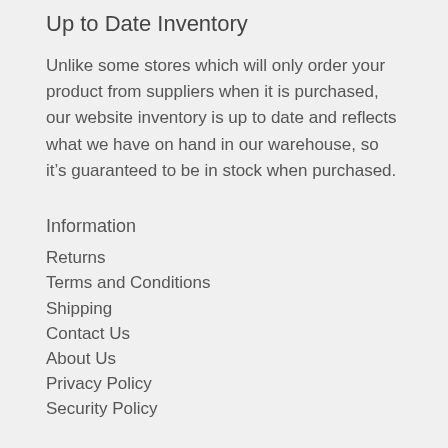Up to Date Inventory
Unlike some stores which will only order your product from suppliers when it is purchased, our website inventory is up to date and reflects what we have on hand in our warehouse, so it’s guaranteed to be in stock when purchased.
Information
Returns
Terms and Conditions
Shipping
Contact Us
About Us
Privacy Policy
Security Policy
COVID-19 Update
We are open for business and are shipping orders as per